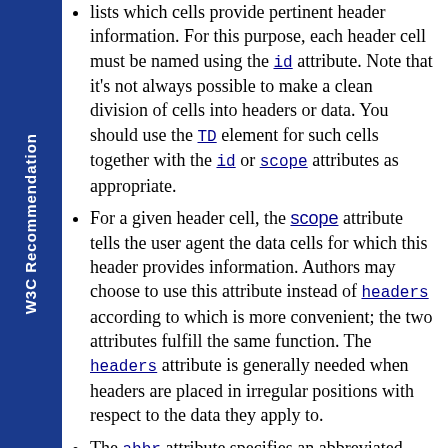lists which cells provide pertinent header information. For this purpose, each header cell must be named using the id attribute. Note that it's not always possible to make a clean division of cells into headers or data. You should use the TD element for such cells together with the id or scope attributes as appropriate.
For a given header cell, the scope attribute tells the user agent the data cells for which this header provides information. Authors may choose to use this attribute instead of headers according to which is more convenient; the two attributes fulfill the same function. The headers attribute is generally needed when headers are placed in irregular positions with respect to the data they apply to.
The abbr attribute specifies an abbreviated header for header cells so that user agents may render header information more rapidly.
In the following example, we assign header information to cells by setting the headers attribute. Each cell in the same column refers to the same header cell (via the id attribute).